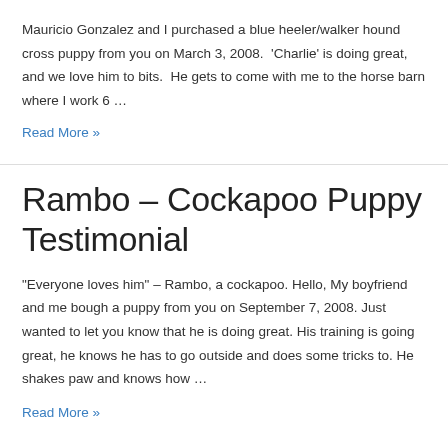Mauricio Gonzalez and I purchased a blue heeler/walker hound cross puppy from you on March 3, 2008. 'Charlie' is doing great, and we love him to bits. He gets to come with me to the horse barn where I work 6 …
Read More »
Rambo – Cockapoo Puppy Testimonial
“Everyone loves him” – Rambo, a cockapoo. Hello, My boyfriend and me bough a puppy from you on September 7, 2008. Just wanted to let you know that he is doing great. His training is going great, he knows he has to go outside and does some tricks to. He shakes paw and knows how …
Read More »